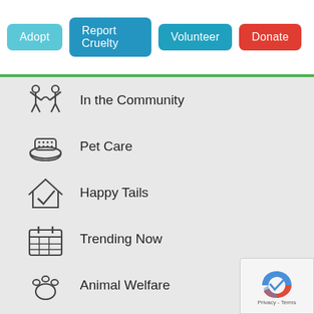Adopt | Report Cruelty | Volunteer | Donate
In the Community
Pet Care
Happy Tails
Trending Now
Animal Welfare
Fact Check
Kids and Youth